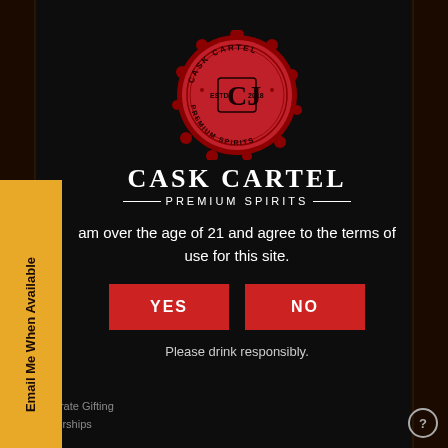[Figure (logo): Cask Cartel red wax seal logo with CJ monogram, ESTD 2018, PREMIUM SPIRITS text around circle]
CASK CARTEL
— PREMIUM SPIRITS —
am over the age of 21 and agree to the terms of use for this site.
[Figure (other): YES button - red rectangle]
[Figure (other): NO button - red rectangle]
Please drink responsibly.
Corporate Gifting
Partnerships